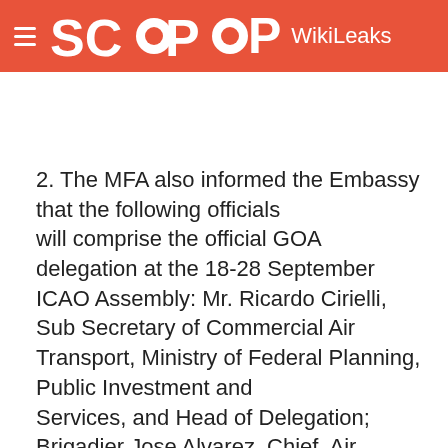SCOOP WikiLeaks
2. The MFA also informed the Embassy that the following officials will comprise the official GOA delegation at the 18-28 September ICAO Assembly: Mr. Ricardo Cirielli, Sub Secretary of Commercial Air Transport, Ministry of Federal Planning, Public Investment and Services, and Head of Delegation; Brigadier Jose Alvarez, Chief, Air